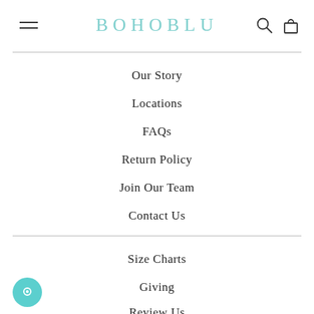BOHOBLU
Our Story
Locations
FAQs
Return Policy
Join Our Team
Contact Us
Size Charts
Giving
Review Us